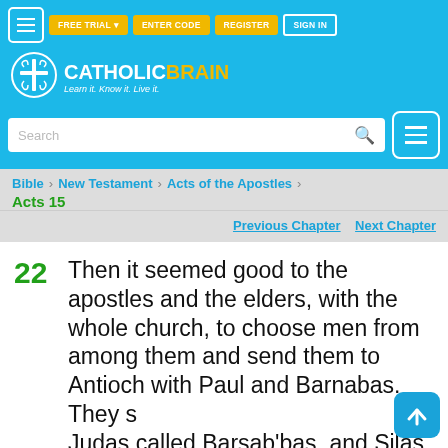[Figure (logo): CatholicBrain logo with cross/brain icon, tagline: Learn it. Know it. Live it.]
FREE TRIAL  ENTER CODE  REGISTER  SIGN IN
Search
Bible > New Testament > Acts of the Apostles > Acts 15
Previous Chapter   Next Chapter
22  Then it seemed good to the apostles and the elders, with the whole church, to choose men from among them and send them to Antioch with Paul and Barnabas. They s... Judas called Barsab'bas, and Silas...